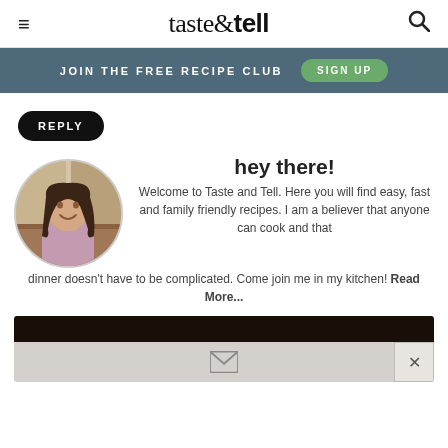≡  taste&tell  🔍
JOIN THE FREE RECIPE CLUB  SIGN UP
REPLY
[Figure (photo): Circular portrait photo of a smiling woman with long dark hair in a kitchen, wearing a pink shirt]
hey there!
Welcome to Taste and Tell. Here you will find easy, fast and family friendly recipes. I am a believer that anyone can cook and that dinner doesn't have to be complicated. Come join me in my kitchen! Read More...
[Figure (photo): Partial view of a dark food photo at bottom, with a light grey email subscription panel showing an envelope icon]